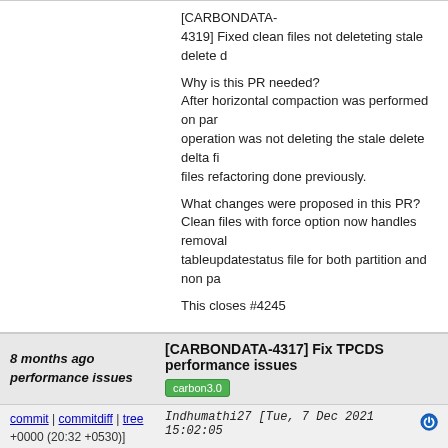[CARBONDATA-4319] Fixed clean files not deleteting stale delete delta files

Why is this PR needed?
After horizontal compaction was performed on partition table, clean files operation was not deleting the stale delete delta files due to some clean files refactoring done previously.

What changes were proposed in this PR?
Clean files with force option now handles removal of tableupdatestatus file for both partition and non partition tables.

This closes #4245
8 months ago
[CARBONDATA-4317] Fix TPCDS performance issues carbon3.0
commit | commitdiff | tree
Indhumathi27 [Tue, 7 Dec 2021 15:02:05 +0000 (20:32 +0530)]
[CARBONDATA-4317] Fix TPCDS performance issues

Why is this PR needed?
The following issues has degraded the TPCDS query performance:
1. If dynamic filters is not present in partitionFilters...
2. In some cases, some nodes like Exchange / Sh...
3. While accessing the metadata on the canonical...